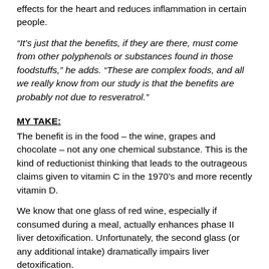effects for the heart and reduces inflammation in certain people.
“It’s just that the benefits, if they are there, must come from other polyphenols or substances found in those foodstuffs,” he adds. “These are complex foods, and all we really know from our study is that the benefits are probably not due to resveratrol.”
MY TAKE:
The benefit is in the food – the wine, grapes and chocolate – not any one chemical substance. This is the kind of reductionist thinking that leads to the outrageous claims given to vitamin C in the 1970’s and more recently vitamin D.
We know that one glass of red wine, especially if consumed during a meal, actually enhances phase II liver detoxification. Unfortunately, the second glass (or any additional intake) dramatically impairs liver detoxification.
The French Paradox comes from the Framingham Study that is the basis for statin drug therapy. Researchers found